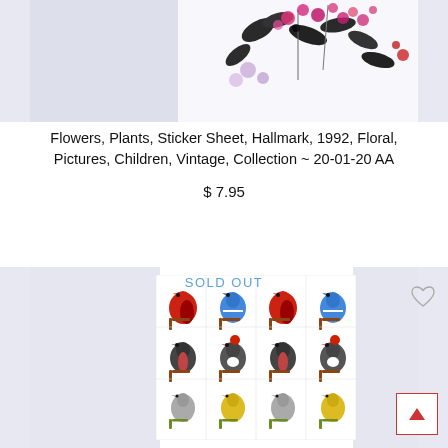[Figure (photo): Floral sticker sheet product image showing flowers and plants with dark leaves on white/light purple background]
Flowers, Plants, Sticker Sheet, Hallmark, 1992, Floral, Pictures, Children, Vintage, Collection ~ 20-01-20 AA
$ 7.95
[Figure (photo): Bird sticker sheet showing colorful birds on branches including cardinals, blue jays, and yellow birds, with SOLD OUT overlay label]